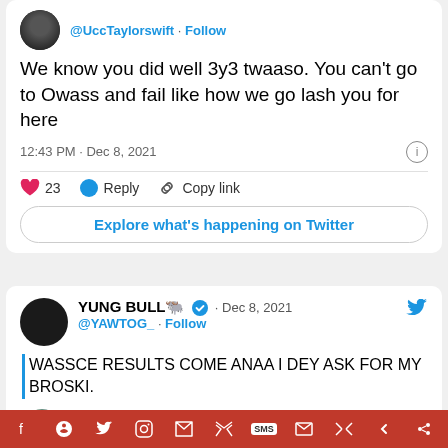[Figure (screenshot): Screenshot of a Twitter/social media interface showing two tweets. First tweet by @UccTaylorswift: 'We know you did well 3y3 twaaso. You can't go to Owass and fail like how we go lash you for here' posted at 12:43 PM · Dec 8, 2021 with 23 likes. Second tweet by YUNG BULL @YAWTOG_ on Dec 8, 2021: 'WASSCE RESULTS COME ANAA I DEY ASK FOR MY BROSKI.' with a reply from @BoraxDaniel. Bottom red navigation bar with social media icons.]